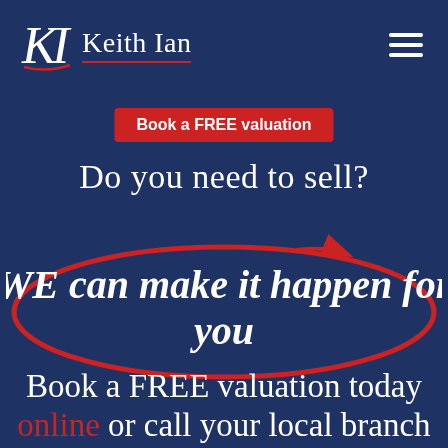[Figure (logo): Keith Ian estate agents logo with stylized KI monogram and red underline, plus hamburger menu icon in the top right]
Book a FREE valuation
Do you need to sell?
[Figure (illustration): Red oval/ellipse circle drawn around the italic bold white text 'WE can make it happen for you']
Book a FREE valuation today online or call your local branch